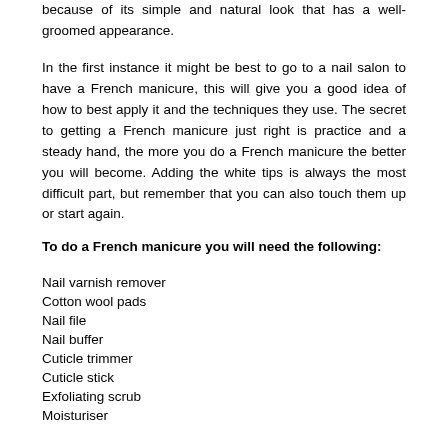because of its simple and natural look that has a well-groomed appearance.
In the first instance it might be best to go to a nail salon to have a French manicure, this will give you a good idea of how to best apply it and the techniques they use. The secret to getting a French manicure just right is practice and a steady hand, the more you do a French manicure the better you will become. Adding the white tips is always the most difficult part, but remember that you can also touch them up or start again.
To do a French manicure you will need the following:
Nail varnish remover
Cotton wool pads
Nail file
Nail buffer
Cuticle trimmer
Cuticle stick
Exfoliating scrub
Moisturiser
White nail polish
Pink, peach or iridescent nail polish
Clear nail polish